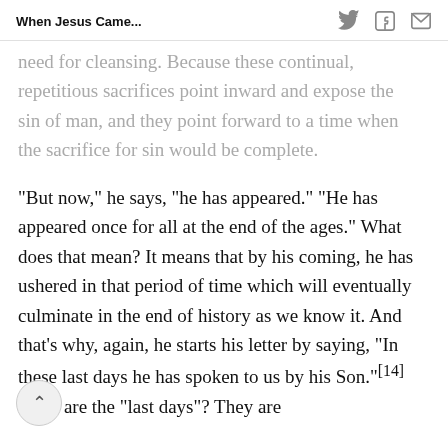When Jesus Came...
need for cleansing. Because these continual, repetitious sacrifices point inward and expose the sin of man, and they point forward to a time when the sacrifice for sin would be complete.
“But now,” he says, “he has appeared.” “He has appeared once for all at the end of the ages.” What does that mean? It means that by his coming, he has ushered in that period of time which will eventually culminate in the end of history as we know it. And that’s why, again, he starts his letter by saying, “In these last days he has spoken to us by his Son.”[14] What are the “last days”? They are